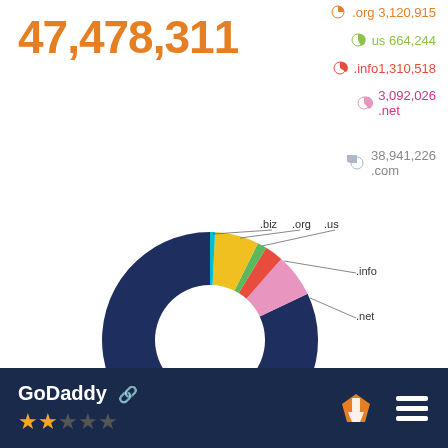47,478,311
[Figure (donut-chart): Domain distribution by TLD]
.org 3,120,915
.us 664,244
.info 1,310,518
.net 3,092,026
.com 38,941,226
GoDaddy ★★☆☆☆